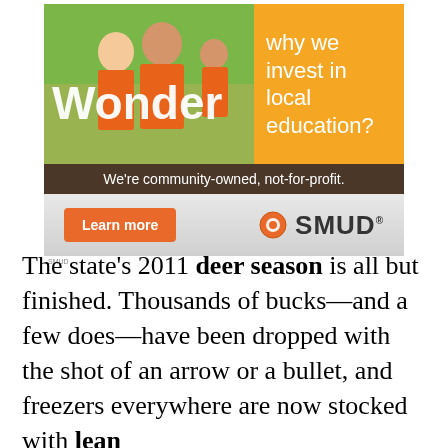[Figure (photo): SMUD advertisement banner. Top section shows volunteers in orange shirts in a classroom setting with 'Wonder why we invest in local education?' text. Brown tagline bar reads 'We're community-owned, not-for-profit.' Bottom gray section has orange 'Learn more' button and SMUD logo.]
The state's 2011 deer season is all but finished. Thousands of bucks—and a few does—have been dropped with the shot of an arrow or a bullet, and freezers everywhere are now stocked with lean